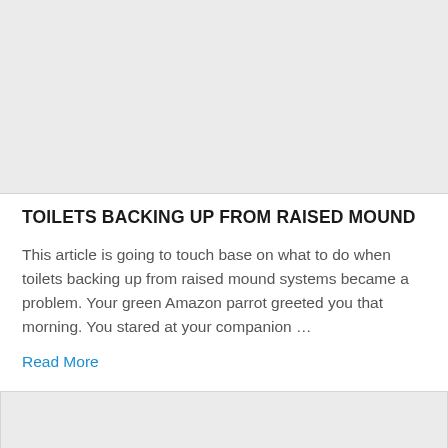[Figure (photo): Gray placeholder image area at the top of the page]
TOILETS BACKING UP FROM RAISED MOUND
This article is going to touch base on what to do when toilets backing up from raised mound systems became a problem. Your green Amazon parrot greeted you that morning. You stared at your companion …
Read More
[Figure (photo): Gray placeholder image area at the bottom of the page with a small image icon placeholder and a blue scroll-to-top button in the bottom right corner]